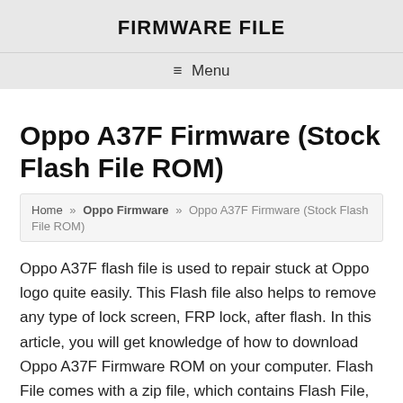FIRMWARE FILE
≡ Menu
Oppo A37F Firmware (Stock Flash File ROM)
Home » Oppo Firmware » Oppo A37F Firmware (Stock Flash File ROM)
Oppo A37F flash file is used to repair stuck at Oppo logo quite easily. This Flash file also helps to remove any type of lock screen, FRP lock, after flash. In this article, you will get knowledge of how to download Oppo A37F Firmware ROM on your computer. Flash File comes with a zip file, which contains Flash File, Flash tool & USB Driver. So, follow the below